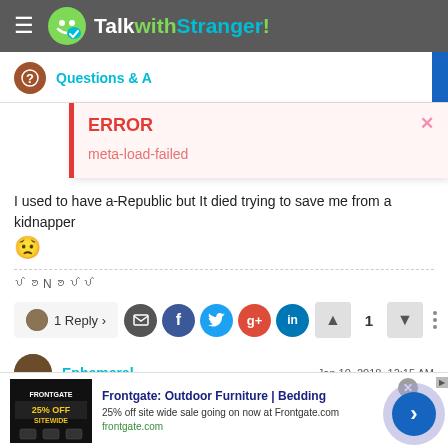[Figure (screenshot): TalkwithStranger website header with hamburger menu and logo]
Questions & A
[Figure (screenshot): Error popup with red border showing ERROR title and meta-load-failed message with close button]
I used to have a Republic but It died trying to save me from a kidnapper 😟
ꪜꪮNꪮꪜꪜ
1 Reply ›
1
Ephemeral
Jan 10, 2018, 12:15 AM
[Figure (screenshot): Frontgate advertisement: Outdoor Furniture | Bedding, 25% off site wide sale going on now at Frontgate.com]
Frontgate: Outdoor Furniture | Bedding
25% off site wide sale going on now at Frontgate.com
frontgate.com